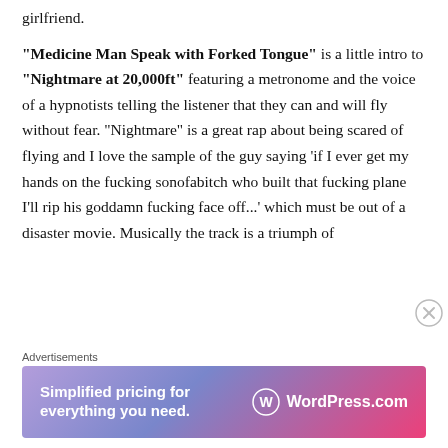girlfriend.
“Medicine Man Speak with Forked Tongue” is a little intro to “Nightmare at 20,000ft” featuring a metronome and the voice of a hypnotists telling the listener that they can and will fly without fear. “Nightmare” is a great rap about being scared of flying and I love the sample of the guy saying ‘if I ever get my hands on the fucking sonofabitch who built that fucking plane I’ll rip his goddamn fucking face off...’ which must be out of a disaster movie. Musically the track is a triumph of
Advertisements
[Figure (infographic): WordPress.com advertisement banner with gradient purple-to-pink background. Text reads: Simplified pricing for everything you need. WordPress.com logo on right.]